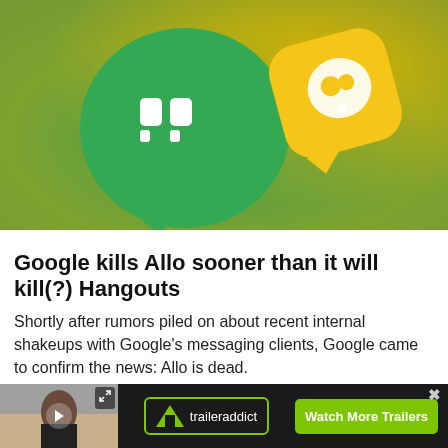[Figure (photo): Hero image showing Google Hangouts (green speech bubble with quote marks icon) and Google Allo (yellow/golden speech bubble with white chat icon) app logos on a gradient yellow-green background]
Google kills Allo sooner than it will kill(?) Hangouts
Shortly after rumors piled on about recent internal shakeups with Google's messaging clients, Google came to confirm the news: Allo is dead.
2018
[Figure (screenshot): Bottom ad bar: video thumbnail of a woman presenter on the left, traileraddict logo in center, Watch More Trailers button on right]